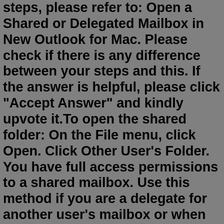steps, please refer to: Open a Shared or Delegated Mailbox in New Outlook for Mac. Please check if there is any difference between your steps and this. If the answer is helpful, please click "Accept Answer" and kindly upvote it.To open the shared folder: On the File menu, click Open. Click Other User's Folder. You have full access permissions to a shared mailbox. Use this method if you are a delegate for another user's mailbox or when you have permissions to several folders in a shared mailbox. You can also use this method when you have full access permissions to a ...To open the shared folder: On the File menu, click Open. Click Other User's Folder. You have full access permissions to a shared mailbox. Use this method if you are a delegate for another user's mailbox or when you have permissions to several folders in a shared mailbox. You can also use this method when you have full access permissions to a ... Mar 18, 2022 · After the account is added, click Done. From the top menu bar, navigate to Tools>Accounts and select the account that has access to the shared mailbox. Select the